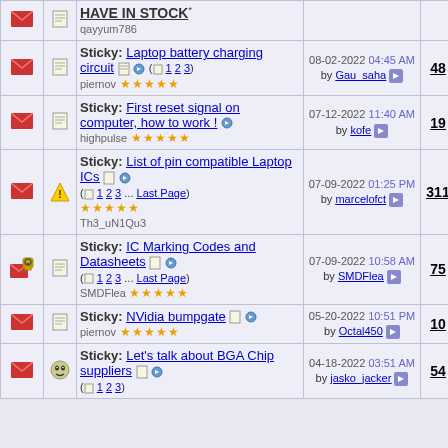|  |  | Thread Title | Last Post | Replies | Views |
| --- | --- | --- | --- | --- | --- |
| [envelope] | [notepad] | HAVE IN STOCK
qayyum786 |  |  |  |
| [envelope] | [notepad] | Sticky: Laptop battery charging circuit (1 2 3)
piernov ★★★★★ | 08-02-2022 04:45 AM
by Gau_saha | 48 | 35,089 |
| [envelope] | [notepad] | Sticky: First reset signal on computer, how to work !
highpulse ★★★★★ | 07-12-2022 11:40 AM
by kofe | 19 | 10,056 |
| [envelope] | [warning] | Sticky: List of pin compatible Laptop ICs
(1 2 3 ... Last Page)
★★★★★
Th3_uN1Qu3 | 07-09-2022 01:25 PM
by marcelofct | 311 | 312,934 |
| [lock+envelope] | [notepad] | Sticky: IC Marking Codes and Datasheets
(1 2 3 ... Last Page)
SMDFlea ★★★★★ | 07-09-2022 10:58 AM
by SMDFlea | 75 | 63,339 |
| [envelope] | [notepad] | Sticky: NVidia bumpgate
piernov ★★★★★ | 05-20-2022 10:51 PM
by Octal450 | 10 | 6,549 |
| [envelope] | [glasses] | Sticky: Let's talk about BGA Chip suppliers (1 2 3) | 04-18-2022 03:51 AM
by jasko_jacker | 54 | 57,537 |